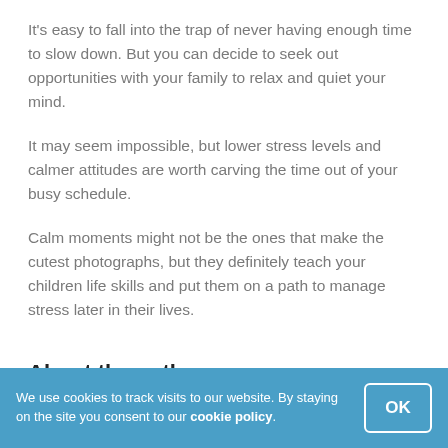It's easy to fall into the trap of never having enough time to slow down. But you can decide to seek out opportunities with your family to relax and quiet your mind.
It may seem impossible, but lower stress levels and calmer attitudes are worth carving the time out of your busy schedule.
Calm moments might not be the ones that make the cutest photographs, but they definitely teach your children life skills and put them on a path to manage stress later in their lives.
About the author
Cristin Howard runs Smart Parent Advice, a site that provides parenting advice for moms and dads. Cristin writes about all of
We use cookies to track visits to our website. By staying on the site you consent to our cookie policy.